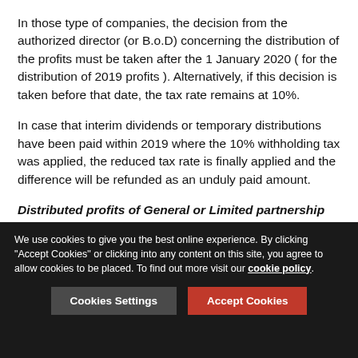In those type of companies, the decision from the authorized director (or B.o.D) concerning the distribution of the profits must be taken after the 1 January 2020 ( for the distribution of 2019 profits ). Alternatively, if this decision is taken before that date, the tax rate remains at 10%.
In case that interim dividends or temporary distributions have been paid within 2019 where the 10% withholding tax was applied, the reduced tax rate is finally applied and the difference will be refunded as an unduly paid amount.
Distributed profits of General or Limited partnership companies and similar holding or joint venture entities
The above type of entities must keep double entry books. Additionally, for the new rates to be applicable, dividends must be cashed out after 1 January 2020.
We use cookies to give you the best online experience. By clicking "Accept Cookies" or clicking into any content on this site, you agree to allow cookies to be placed. To find out more visit our cookie policy.